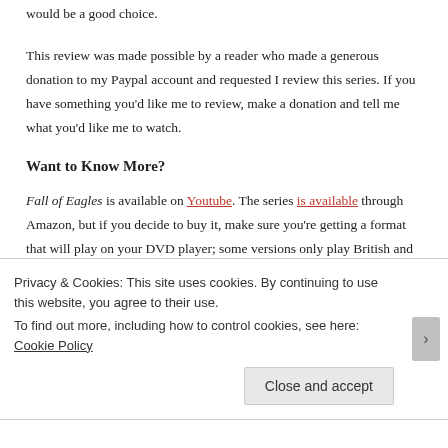would be a good choice.
This review was made possible by a reader who made a generous donation to my Paypal account and requested I review this series. If you have something you'd like me to review, make a donation and tell me what you'd like me to watch.
Want to Know More?
Fall of Eagles is available on Youtube. The series is available through Amazon, but if you decide to buy it, make sure you're getting a format that will play on your DVD player; some versions only play British and
Privacy & Cookies: This site uses cookies. By continuing to use this website, you agree to their use.
To find out more, including how to control cookies, see here: Cookie Policy